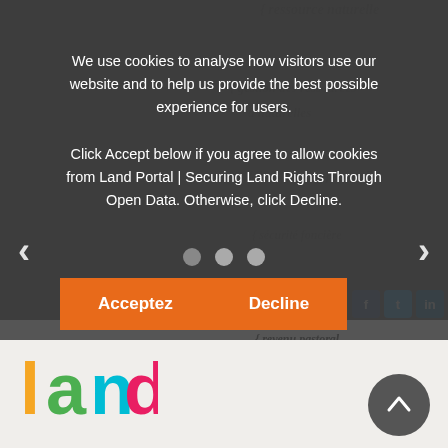[Figure (screenshot): Cookie consent overlay on Land Portal website. Dark semi-transparent overlay with white text asking users to accept or decline cookies. Behind the overlay, partially visible French text tags (ressource naturelle, gestion des ressources naturelles, droit foncier pastoral, sécurité foncière, pastoralisme, revenu pastoral). Navigation arrows on left and right. Three dots indicator. Two orange buttons: Acceptez and Decline. Social sharing icons. Below overlay: light beige background with colorful Land Portal logo on bottom left and grey scroll-up button on bottom right.]